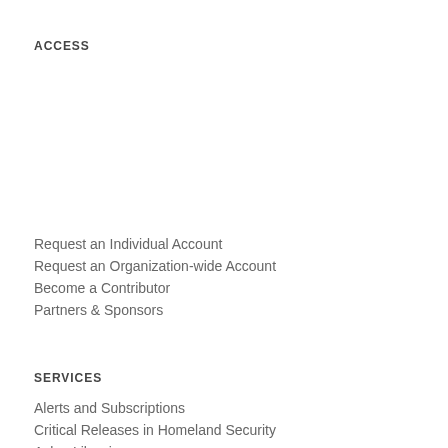ACCESS
Request an Individual Account
Request an Organization-wide Account
Become a Contributor
Partners & Sponsors
SERVICES
Alerts and Subscriptions
Critical Releases in Homeland Security
Ask a Librarian